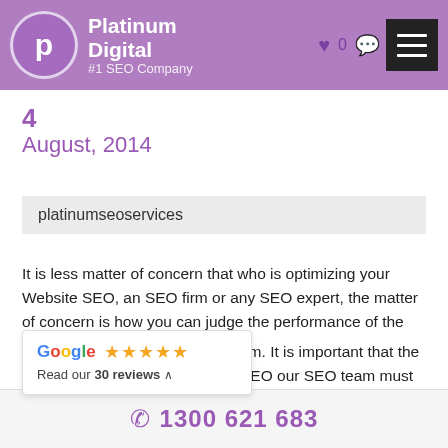Platinum Digital — #1 SEO Company
4
August, 2014
platinumseoservices
It is less matter of concern that who is optimizing your Website SEO, an SEO firm or any SEO expert, the matter of concern is how you can judge the performance of the em. It is important that the SEO our SEO team must be result
[Figure (infographic): Google review widget showing 4.5 stars and 'Read our 30 reviews' with an upward chevron]
1300 621 683